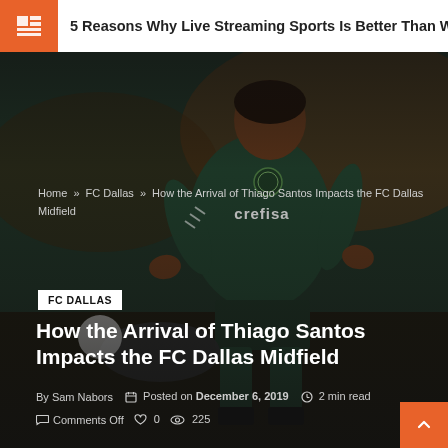5 Reasons Why Live Streaming Sports Is Better Than Watching Them
[Figure (photo): Soccer player in a dark green Palmeiras jersey with Crefisa sponsor, dribbling or in action during a match. Dark, moody photo.]
Home » FC Dallas » How the Arrival of Thiago Santos Impacts the FC Dallas Midfield
FC DALLAS
How the Arrival of Thiago Santos Impacts the FC Dallas Midfield
By Sam Nabors   Posted on December 6, 2019   2 min read
Comments Off   0   225